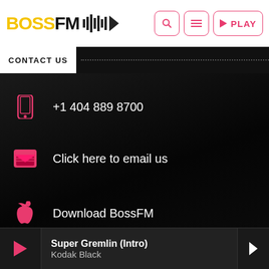[Figure (logo): BOSS FM logo with waveform/play button graphic, yellow BOSS text, black FM text]
CONTACT US
+1 404 889 8700
Click here to email us
Download BossFM
Super Gremlin (Intro) Kodak Black